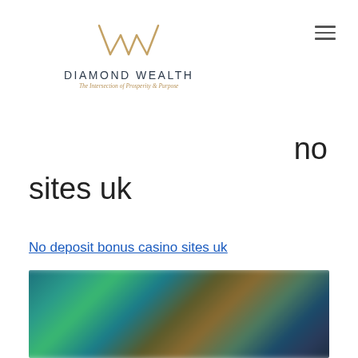[Figure (logo): Diamond Wealth logo with stylized W mark, text 'DIAMOND WEALTH' and tagline 'The Intersection of Prosperity & Purpose']
no sites uk
No deposit bonus casino sites uk
[Figure (photo): Blurred casino games screenshot showing colorful game thumbnails and characters]